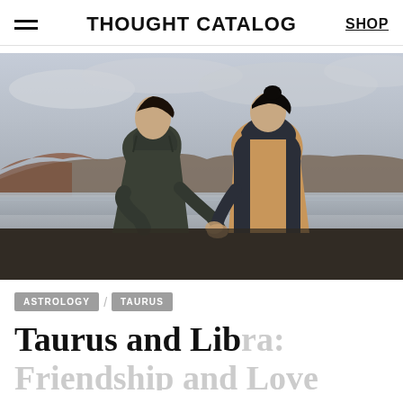THOUGHT CATALOG
[Figure (photo): A couple seen from behind, holding hands, standing near a lake with rocky hills in a cloudy overcast sky. The man wears a dark olive jacket and the woman wears a tan vest over a dark hoodie.]
ASTROLOGY
TAURUS
Taurus and Libra: Friendship and Love